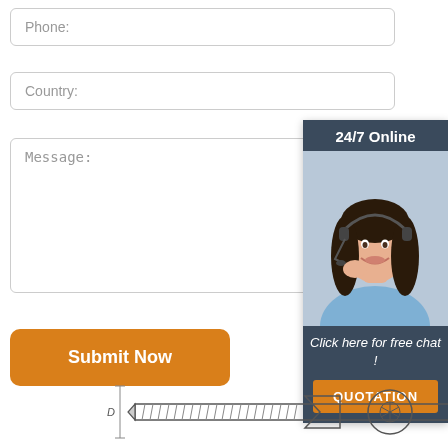Phone:
Country:
Message:
[Figure (infographic): Customer service chat widget showing '24/7 Online' header, a smiling female customer service representative with headset, 'Click here for free chat!' text, and an orange QUOTATION button]
Submit Now
[Figure (engineering-diagram): Technical drawing of a screw with dimension marking D and a socket/head cross-section view]